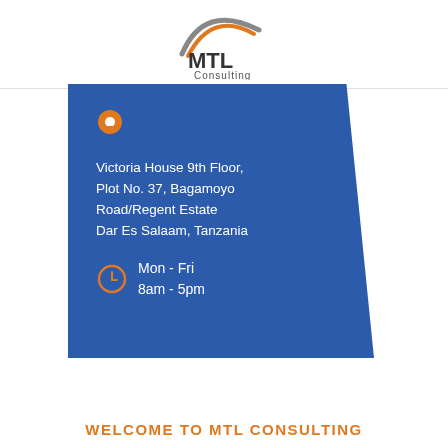[Figure (logo): MTL Consulting logo with swoosh arcs above the letters MTL and 'Consulting' text below]
[Figure (infographic): Blue parallelogram-shaped card with orange map pin icon, address 'Victoria House 9th Floor, Plot No. 37, Bagamoyo Road/Regent Estate, Dar Es Salaam, Tanzania', clock icon with hours 'Mon - Fri 8am - 5pm']
Victoria House 9th Floor, Plot No. 37, Bagamoyo Road/Regent Estate Dar Es Salaam, Tanzania
Mon - Fri
8am - 5pm
WELCOME TO MTL CONSULTING